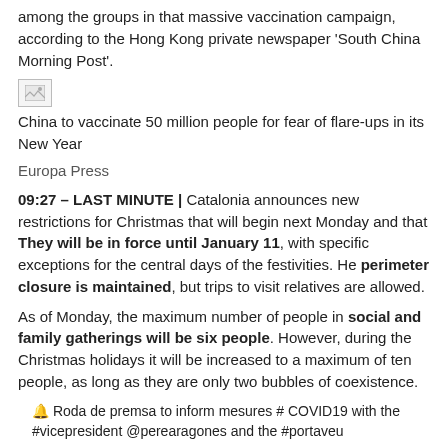among the groups in that massive vaccination campaign, according to the Hong Kong private newspaper 'South China Morning Post'.
[Figure (photo): Small broken image placeholder icon]
China to vaccinate 50 million people for fear of flare-ups in its New Year
Europa Press
09:27 – LAST MINUTE | Catalonia announces new restrictions for Christmas that will begin next Monday and that They will be in force until January 11, with specific exceptions for the central days of the festivities. He perimeter closure is maintained, but trips to visit relatives are allowed.
As of Monday, the maximum number of people in social and family gatherings will be six people. However, during the Christmas holidays it will be increased to a maximum of ten people, as long as they are only two bubbles of coexistence.
🔔 Roda de premsa to inform mesures # COVID19 with the #vicepresident @perearagones and the #portaveu